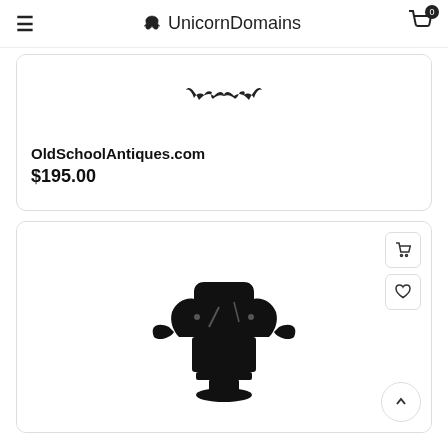UnicornDomains
[Figure (illustration): Partial view of a decorative illustration at top of first product card (bat or crown-like logo)]
OldSchoolAntiques.com
$195.00
[Figure (illustration): Product image of a black antique anvil-shaped object on a pedestal, second product card]